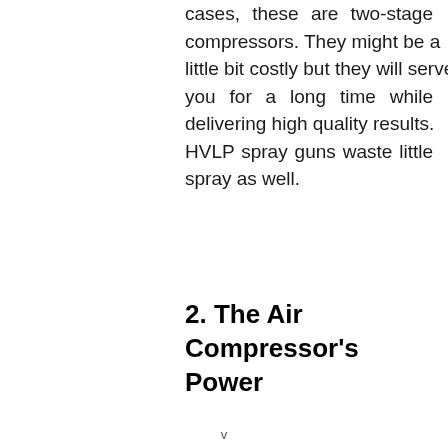cases, these are two-stage compressors. They might be a little bit costly but they will serve you for a long time while delivering high quality results. HVLP spray guns waste little spray as well.
2. The Air Compressor's Power
v